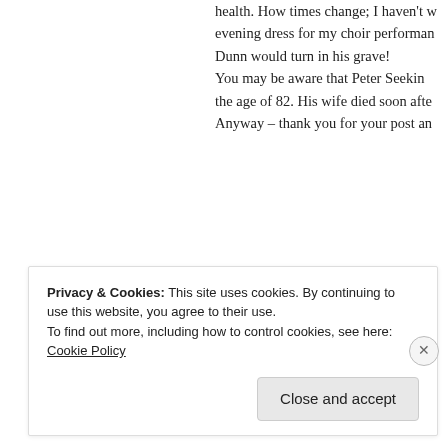health. How times change; I haven't w evening dress for my choir performan Dunn would turn in his grave! You may be aware that Peter Seeking the age of 82. His wife died soon afte Anyway – thank you for your post an
Kind Regards
Mike Bradshaw
★ Like
Privacy & Cookies: This site uses cookies. By continuing to use this website, you agree to their use. To find out more, including how to control cookies, see here: Cookie Policy